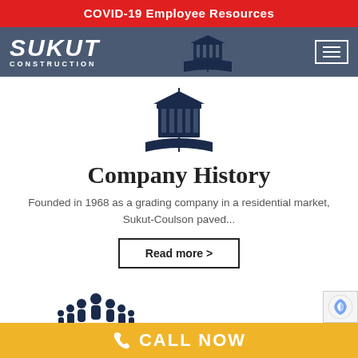COVID-19 Employee Resources
[Figure (logo): Sukut Construction logo in white italic text on dark blue-gray navigation bar, with hamburger menu icon on the right]
[Figure (illustration): Dark navy icon of a building/institution with columns above an open book]
Company History
Founded in 1968 as a grading company in a residential market, Sukut-Coulson paved...
Read more >
[Figure (illustration): Dark navy icon of a group of people being held in cupped hands]
CALL NOW